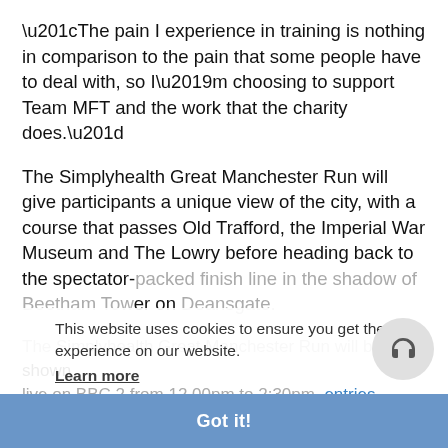“The pain I experience in training is nothing in comparison to the pain that some people have to deal with, so I’m choosing to support Team MFT and the work that the charity does.”
The Simplyhealth Great Manchester Run will give participants a unique view of the city, with a course that passes Old Trafford, the Imperial War Museum and The Lowry before heading back to the spectator-packed finish line in the shadow of Beetham Tower on Deansgate.
This website uses cookies to ensure you get the best experience on our website.
Learn more
The Simplyhealth Great Manchester Run will be shown live on BBC 2 from 12.00pm to 2:30pm, entries still open.
Got it!